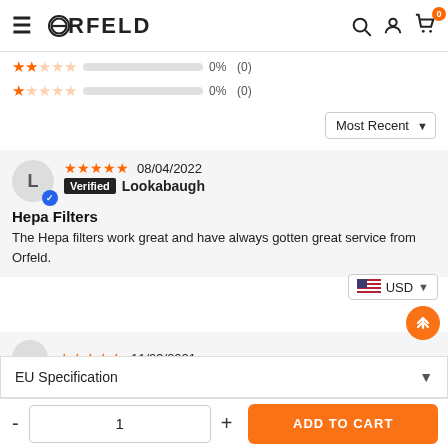ORFELD — navigation header with hamburger menu, search, account, cart (0)
2 stars: 0%  (0)
1 star: 0%  (0)
Most Recent (sort dropdown)
★★★★★  08/04/2022  Verified  Lookabaugh
Hepa Filters
The Hepa filters work great and have always gotten great service from Orfeld.
🇺🇸 USD
★★★★★  11/03/2021
EU Specification
- 1 +  ADD TO CART